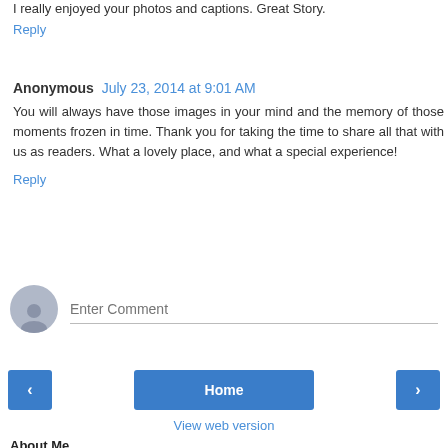I really enjoyed your photos and captions. Great Story.
Reply
Anonymous  July 23, 2014 at 9:01 AM
You will always have those images in your mind and the memory of those moments frozen in time. Thank you for taking the time to share all that with us as readers. What a lovely place, and what a special experience!
Reply
Enter Comment
Home
View web version
About Me